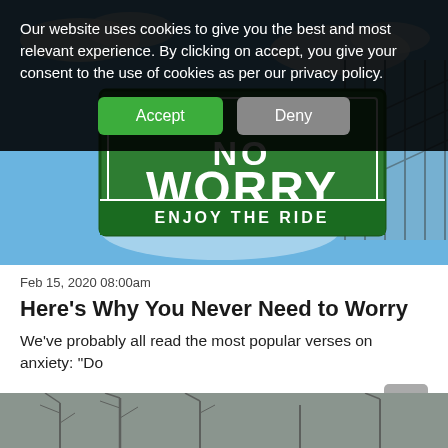[Figure (photo): Green highway-style road sign reading 'NO WORRY / ENJOY THE RIDE' against a blue sky with fence in background]
Feb 15, 2020 08:00am
Here’s Why You Never Need to Worry
We’ve probably all read the most popular verses on anxiety: “Do
1026 Views
[Figure (photo): Bottom strip of a dark wintry landscape photo with bare trees]
Our website uses cookies to give you the best and most relevant experience. By clicking on accept, you give your consent to the use of cookies as per our privacy policy.